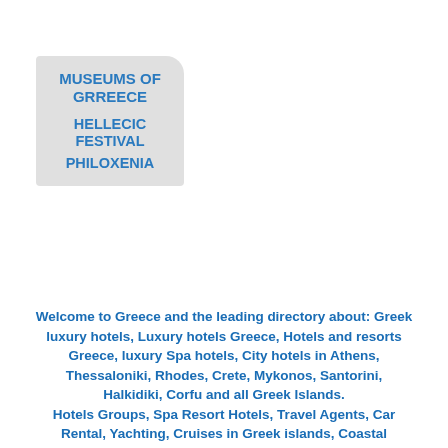[Figure (other): A badge/label graphic with light grey background and rounded corner (top-right), containing three lines of bold blue text: 'MUSEUMS OF GRREECE', 'HELLECIC FESTIVAL', 'PHILOXENIA']
Welcome to Greece and the leading directory about: Greek luxury hotels, Luxury hotels Greece, Hotels and resorts Greece, luxury Spa hotels, City hotels in Athens, Thessaloniki, Rhodes, Crete, Mykonos, Santorini, Halkidiki, Corfu and all Greek Islands. Hotels Groups, Spa Resort Hotels, Travel Agents, Car Rental, Yachting, Cruises in Greek islands, Coastal